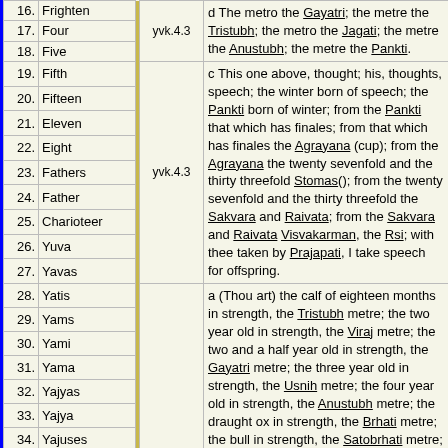| # | Name | Ref | Text |
| --- | --- | --- | --- |
| 16. | Frighten |  | d The metro the Gayatri; the metre the Tristubh; the metro the Jagati; the metre the Anustubh; the metre the Pankti. |
| 17. | Four | yvk.4.3 |  |
| 18. | Five |  |  |
| 19. | Fifth |  | c This one above, thought; his, thoughts, speech; the winter born of speech; the Pankti born of winter; from the Pankti that which has finales; from that which has finales the Agrayana (cup); from the Agrayana the twenty sevenfold and the thirty threefold Stomas(); from the twenty sevenfold and the thirty threefold the Sakvara and Raivata; from the Sakvara and Raivata Visvakarman, the Rsi; with thee taken by Prajapati, I take speech for offspring. |
| 20. | Fifteen |  |  |
| 21. | Eleven | yvk.4.3 |  |
| 22. | Eight |  |  |
| 23. | Fathers |  |  |
| 24. | Father |  |  |
| 25. | Charioteer |  |  |
| 26. | Yuva |  |  |
| 27. | Yavas |  |  |
| 28. | Yatis |  | a (Thou art) the calf of eighteen months in strength, the Tristubh metre; the two year old in strength, the Viraj metre; the two and a half year old in strength, the Gayatri metre; the three year old in strength, the Usnih metre; the four year old in strength, the Anustubh metre; the draught ox in strength, the Brhati metre; the bull in strength, the Satobrhati metre; the bullock in strength, the Kakubh metre; the milch cow in strength, the Jagati metre; the beast of burden in strength, the Pankti metre; |
| 29. | Yams |  |  |
| 30. | Yami |  |  |
| 31. | Yama |  |  |
| 32. | Yajyas |  |  |
| 33. | Yajya |  |  |
| 34. | Yajuses |  |  |
| 35. | Yajus | yvk.4.3 |  |
| 36. | Yajnayajniya |  |  |
| 37. | Yajnasena |  | the goat in strength, the spacious |